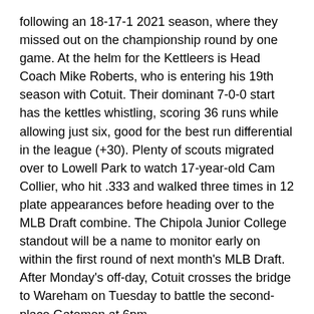following an 18-17-1 2021 season, where they missed out on the championship round by one game. At the helm for the Kettleers is Head Coach Mike Roberts, who is entering his 19th season with Cotuit. Their dominant 7-0-0 start has the kettles whistling, scoring 36 runs while allowing just six, good for the best run differential in the league (+30). Plenty of scouts migrated over to Lowell Park to watch 17-year-old Cam Collier, who hit .333 and walked three times in 12 plate appearances before heading over to the MLB Draft combine. The Chipola Junior College standout will be a name to monitor early on within the first round of next month's MLB Draft. After Monday's off-day, Cotuit crosses the bridge to Wareham on Tuesday to battle the second-place Gatemen at 6pm.
A Swing and a Miss (Quite a Few Actually)
Falmouth (.174), Hyannis (.188), Brewster (.192), and Chatham (.193) all have team batting averages below